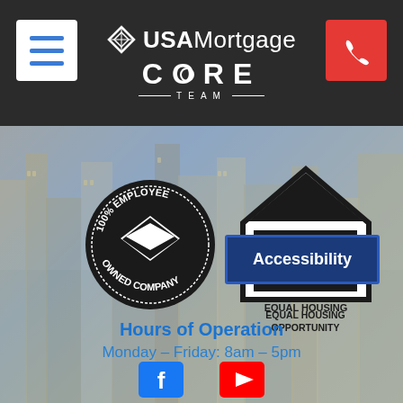[Figure (logo): USA Mortgage CORE Team header with hamburger menu and phone button]
[Figure (logo): 100% Employee Owned Company circular badge and Equal Housing Opportunity logo on city background]
Hours of Operation
Monday – Friday: 8am – 5pm
[Figure (other): Accessibility button overlay]
[Figure (other): Social media icons row (Facebook, YouTube)]